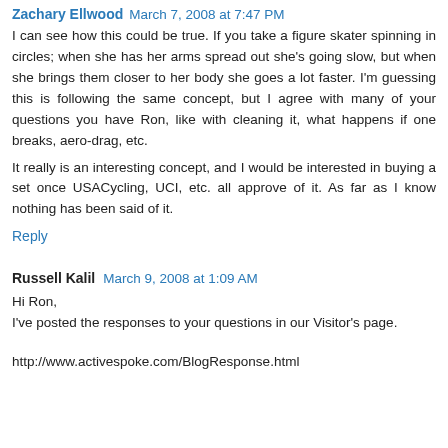Zachary Ellwood  March 7, 2008 at 7:47 PM
I can see how this could be true. If you take a figure skater spinning in circles; when she has her arms spread out she's going slow, but when she brings them closer to her body she goes a lot faster. I'm guessing this is following the same concept, but I agree with many of your questions you have Ron, like with cleaning it, what happens if one breaks, aero-drag, etc.
It really is an interesting concept, and I would be interested in buying a set once USACycling, UCI, etc. all approve of it. As far as I know nothing has been said of it.
Reply
Russell Kalil  March 9, 2008 at 1:09 AM
Hi Ron,
I've posted the responses to your questions in our Visitor's page.
http://www.activespoke.com/BlogResponse.html